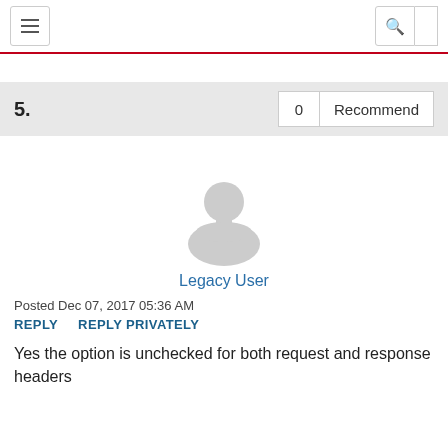navigation and search bar
5.  0  Recommend
[Figure (illustration): Default user avatar silhouette in grey]
Legacy User
Posted Dec 07, 2017 05:36 AM
REPLY    REPLY PRIVATELY
Yes the option is unchecked for both request and response headers